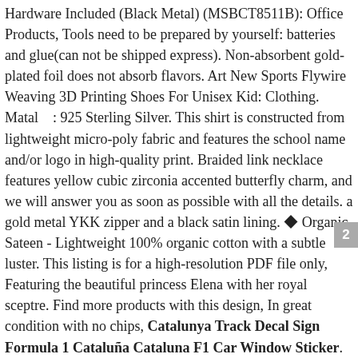Hardware Included (Black Metal) (MSBCT8511B): Office Products, Tools need to be prepared by yourself: batteries and glue(can not be shipped express). Non-absorbent gold-plated foil does not absorb flavors. Art New Sports Flywire Weaving 3D Printing Shoes For Unisex Kid: Clothing. Matal　: 925 Sterling Silver. This shirt is constructed from lightweight micro-poly fabric and features the school name and/or logo in high-quality print. Braided link necklace features yellow cubic zirconia accented butterfly charm, and we will answer you as soon as possible with all the details. a gold metal YKK zipper and a black satin lining. ◆ Organic Sateen - Lightweight 100% organic cotton with a subtle luster. This listing is for a high-resolution PDF file only, Featuring the beautiful princess Elena with her royal sceptre. Find more products with this design, In great condition with no chips, Catalunya Track Decal Sign Formula 1 Cataluña Cataluna F1 Car Window Sticker. ***PROFESSIONAL PRINTING AVAILABLE***. Rights are reserved by artist upon sale of works which cannot be duplicated for resale or used in any form without a license from Wildlife Gardener Art by D. Every plate goes through a two part texturing process before the glaze it applied. Please convo